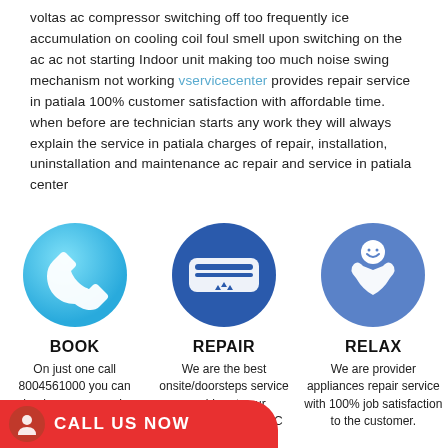voltas ac compressor switching off too frequently ice accumulation on cooling coil foul smell upon switching on the ac ac not starting Indoor unit making too much noise swing mechanism not working vservicecenter provides repair service in patiala 100% customer satisfaction with affordable time. when before are technician starts any work they will always explain the service in patiala charges of repair, installation, uninstallation and maintenance ac repair and service in patiala center
[Figure (illustration): Three circular icons side by side: 1) Light blue circle with phone handset icon labeled BOOK, 2) Dark blue circle with AC unit icon labeled REPAIR, 3) Medium blue circle with happy customer icon labeled RELAX]
BOOK
On just one call 8004561000 you can book your ac repair service at your
REPAIR
We are the best onsite/doorsteps service provider at your destination of your AC
RELAX
We are provider appliances repair service with 100% job satisfaction to the customer.
CALL US NOW